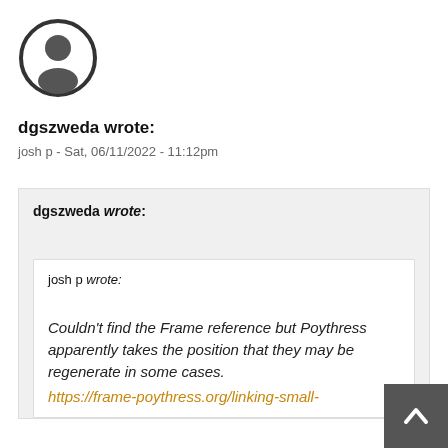[Figure (illustration): Default user avatar icon — dark circle outline with a silhouette of a person inside]
dgszweda wrote:
josh p - Sat, 06/11/2022 - 11:12pm
dgszweda wrote:
josh p wrote:
Couldn't find the Frame reference but Poythress apparently takes the position that they may be regenerate in some cases.
https://frame-poythress.org/linking-small-